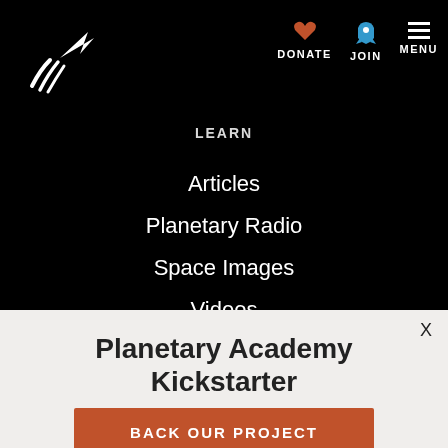[Figure (logo): Planetary Society logo — stylized white comet/rocket shape on black background]
DONATE   JOIN   MENU
LEARN
Articles
Planetary Radio
Space Images
Videos
Planetary Academy Kickstarter
BACK OUR PROJECT